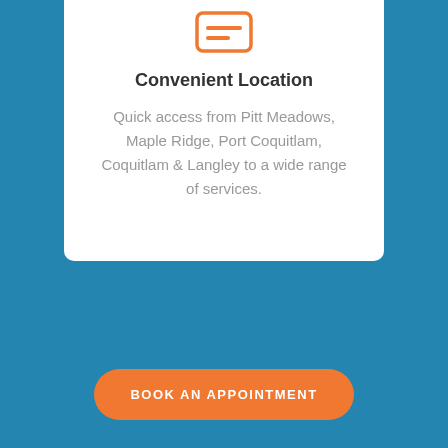[Figure (illustration): Orange outlined icon of a map/location marker or building with horizontal lines, representing a location]
Convenient Location
Quick access from Pitt Meadows, Maple Ridge, Port Coquitlam, Coquitlam & Langley to a wide range of services.
BOOK AN APPOINTMENT